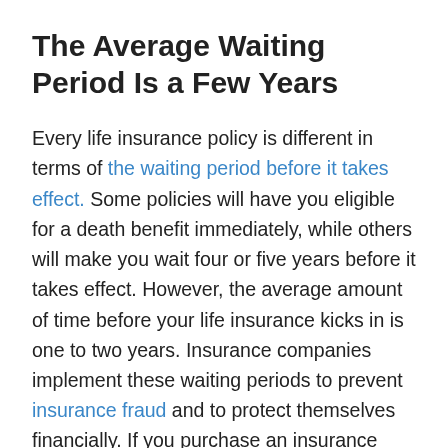The Average Waiting Period Is a Few Years
Every life insurance policy is different in terms of the waiting period before it takes effect. Some policies will have you eligible for a death benefit immediately, while others will make you wait four or five years before it takes effect. However, the average amount of time before your life insurance kicks in is one to two years. Insurance companies implement these waiting periods to prevent insurance fraud and to protect themselves financially. If you purchase an insurance policy and